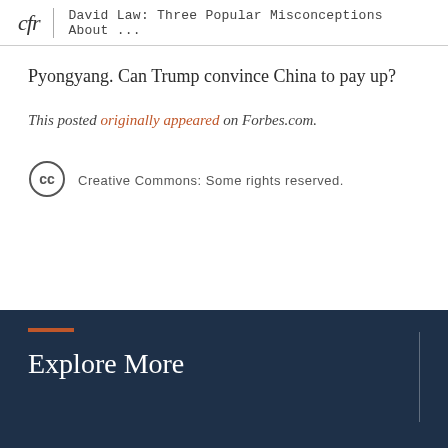cfr | David Law: Three Popular Misconceptions About ...
Pyongyang. Can Trump convince China to pay up?
This posted originally appeared on Forbes.com.
Creative Commons: Some rights reserved.
Explore More